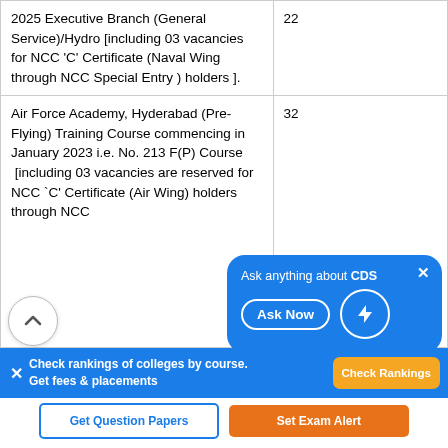| Course / Academy | Vacancies |
| --- | --- |
| 2025 Executive Branch (General Service)/Hydro [including 03 vacancies for NCC 'C' Certificate (Naval Wing through NCC Special Entry ) holders ]. | 22 |
| Air Force Academy, Hyderabad (Pre-Flying) Training Course commencing in January 2023 i.e. No. 213 F(P) Course  [including 03 vacancies are reserved for NCC 'C' Certificate (Air Wing) holders through NCC | 32 |
[Figure (other): Blue popup widget: 'Ask anything about CDS' with 'Ask Now' button and lightning bolt icon]
[Figure (other): Blue banner: 'Check rankings of colleges by course. Get fees & placements' with 'Check Rankings' orange button]
[Figure (other): Two bottom buttons: 'Get Question Papers' (outlined blue) and 'Set Exam Alert' (orange filled)]